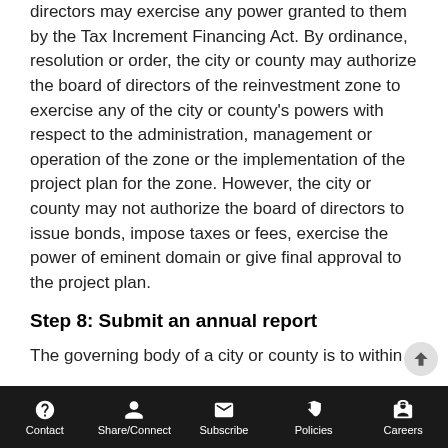directors may exercise any power granted to them by the Tax Increment Financing Act. By ordinance, resolution or order, the city or county may authorize the board of directors of the reinvestment zone to exercise any of the city or county's powers with respect to the administration, management or operation of the zone or the implementation of the project plan for the zone. However, the city or county may not authorize the board of directors to issue bonds, impose taxes or fees, exercise the power of eminent domain or give final approval to the project plan.
Step 8: Submit an annual report
The governing body of a city or county is to within
Contact | Share/Connect | Subscribe | Policies | Careers